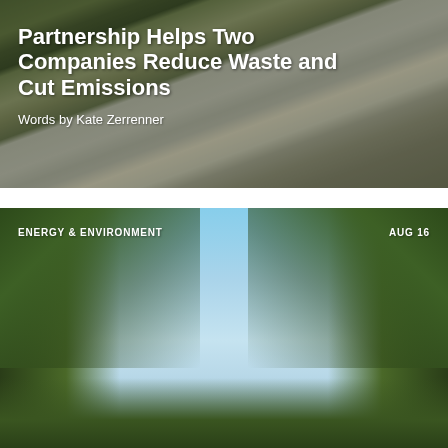[Figure (photo): Aerial view of a road with cars and green surroundings, used as background for article card]
Partnership Helps Two Companies Reduce Waste and Cut Emissions
Words by Kate Zerrenner
[Figure (photo): Looking up through tall trees at a blue sky, forest canopy photograph]
ENERGY & ENVIRONMENT
AUG 16